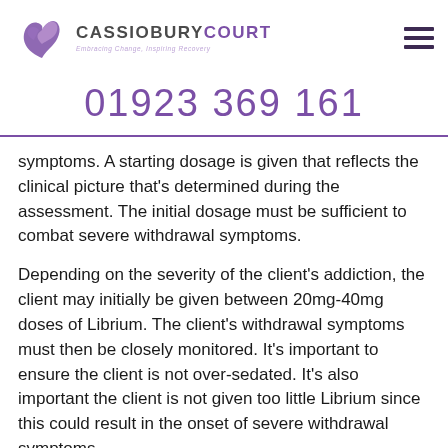CASSIOBURY COURT — Embracing Change, Inspiring Recovery
01923 369 161
symptoms. A starting dosage is given that reflects the clinical picture that's determined during the assessment. The initial dosage must be sufficient to combat severe withdrawal symptoms.
Depending on the severity of the client's addiction, the client may initially be given between 20mg-40mg doses of Librium. The client's withdrawal symptoms must then be closely monitored. It's important to ensure the client is not over-sedated. It's also important the client is not given too little Librium since this could result in the onset of severe withdrawal symptoms.
This initial dosage is then followed by a PRN dosage to